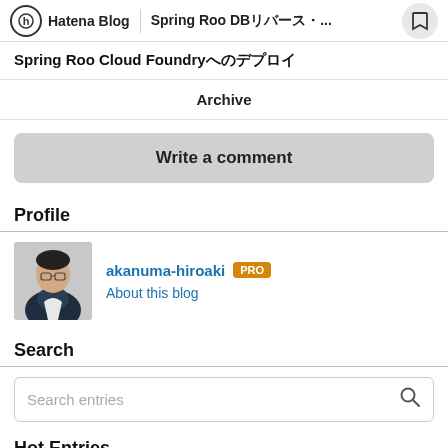Hatena Blog | Spring Roo DBリバース...
Spring Roo Cloud Foundryへのデプロイ
Archive
Write a comment
Profile
[Figure (photo): Profile photo of akanuma-hiroaki, a person in a dark jacket]
akanuma-hiroaki PRO
About this blog
Search
Search entries
Hot Entries